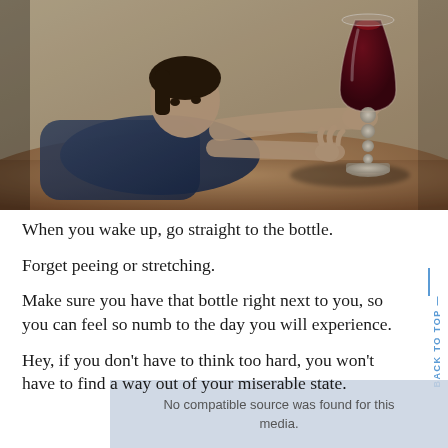[Figure (photo): A woman lying on a floor reaching toward a wine glass filled with red wine. The scene is dim and moody, suggesting themes of alcohol dependence.]
When you wake up, go straight to the bottle.
Forget peeing or stretching.
Make sure you have that bottle right next to you, so you can feel so numb to the day you will experience.
Hey, if you don't have to think too hard, you won't have to find a way out of your miserable state.